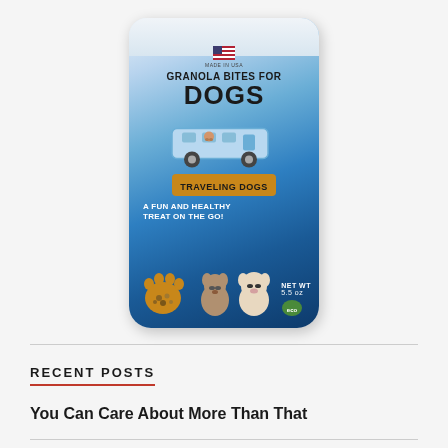[Figure (photo): Product package photo: a blue pouch labeled 'Granola Bites for Dogs' by Traveling Dogs brand, showing an RV illustration, two dogs, a paw with granola treats, 'A Fun and Healthy Treat on the Go!', Made in USA flag, NET WT 5.5 oz]
RECENT POSTS
You Can Care About More Than That